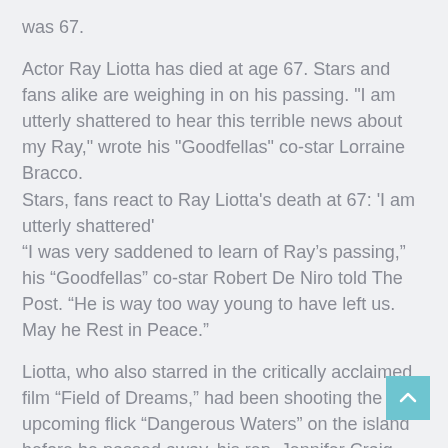was 67.
Actor Ray Liotta has died at age 67. Stars and fans alike are weighing in on his passing. "I am utterly shattered to hear this terrible news about my Ray," wrote his "Goodfellas" co-star Lorraine Bracco.
Stars, fans react to Ray Liotta’s death at 67: ‘I am utterly shattered’
“I was very saddened to learn of Ray’s passing,” his “Goodfellas” co-star Robert De Niro told The Post. “He is way too way young to have left us. May he Rest in Peace.”
Liotta, who also starred in the critically acclaimed film “Field of Dreams,” had been shooting the upcoming flick “Dangerous Waters” on the island before he passed away, his rep, Jennifer Craig, confirmed to the Hollywood Reporter.